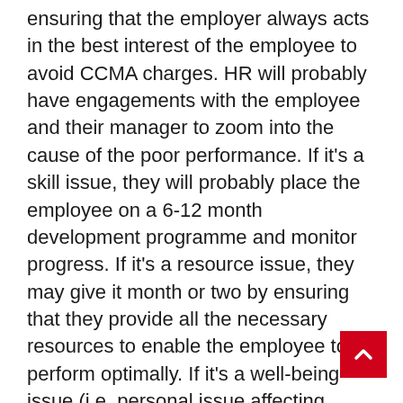ensuring that the employer always acts in the best interest of the employee to avoid CCMA charges. HR will probably have engagements with the employee and their manager to zoom into the cause of the poor performance. If it's a skill issue, they will probably place the employee on a 6-12 month development programme and monitor progress. If it's a resource issue, they may give it month or two by ensuring that they provide all the necessary resources to enable the employee to perform optimally. If it's a well-being issue (i.e. personal issue affecting work) they may bring in professionals like psychologists to assist the employee over a period of time. However, if all these different solutions are tried over a significant period of time and the employee's performance still does not change, the employer has every right to terminate employment. Tolerance for poor performance is only acceptable to a certain point. It's really not about perfection but progressiveness.